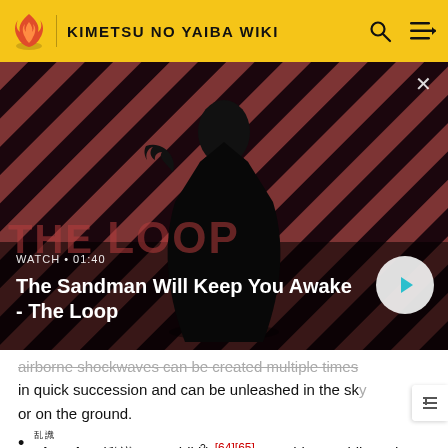KIMETSU NO YAIBA WIKI
[Figure (screenshot): Video thumbnail showing a dark-robed figure with a crow on their shoulder against a red and black diagonal stripe background. Title overlay reads: WATCH • 01:40 / The Sandman Will Keep You Awake - The Loop]
airborne shockwaves can be created multiple times in quick succession and can be unleashed in the sky or on the ground.
Disorder (乱識, Ranshiki?): [64][65] Punching rapidly at the target, Akaza creates a barrage of large shockwaves, destroying anything in front of him. This attack was